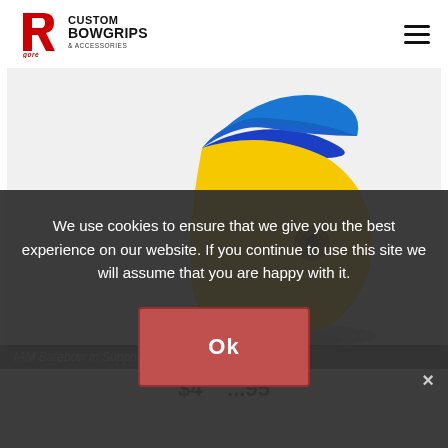[Figure (logo): Gore Custom Bowgrips & Accessories logo with red stylized R graphic and bold text]
[Figure (photo): A bow grip accessory in blue and yellow (Ukraine flag colors) displayed on a white stand/base, showing a contoured grip shape with a circular hole]
IAM Barebow in Support Ukraine for W&W...
We use cookies to ensure that we give you the best experience on our website. If you continue to use this site we will assume that you are happy with it.
$4...95